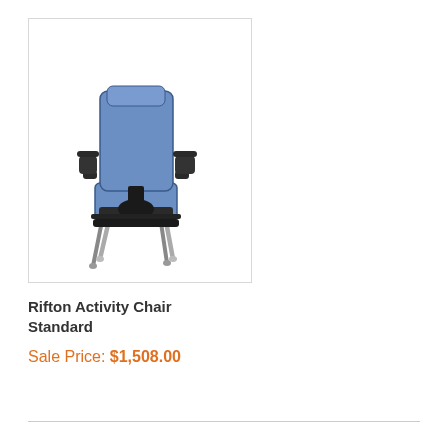[Figure (photo): Rifton Activity Chair Standard — a padded blue adaptive positioning chair with black metal frame, armrests, and adjustable legs]
Rifton Activity Chair Standard
Sale Price: $1,508.00